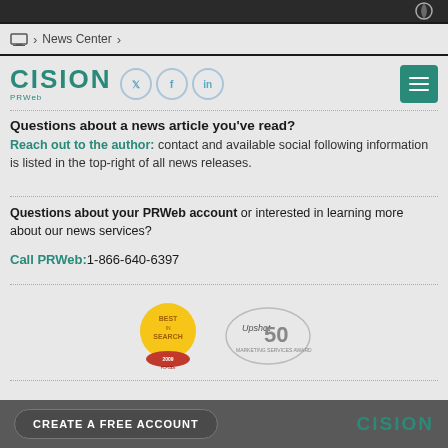[Figure (screenshot): Top navigation bar with dark background and Cision logo watermark]
> News Center >
[Figure (logo): Cision PRWeb logo with social media icons (Twitter, Facebook, LinkedIn) and hamburger menu button]
Questions about a news article you've read?
Reach out to the author: contact and available social following information is listed in the top-right of all news releases.
Questions about your PRWeb account or interested in learning more about our news services?
Call PRWeb:1-866-640-6397
[Figure (logo): Best in Search badge and Upshot 50 badge]
CREATE A FREE ACCOUNT   CISION